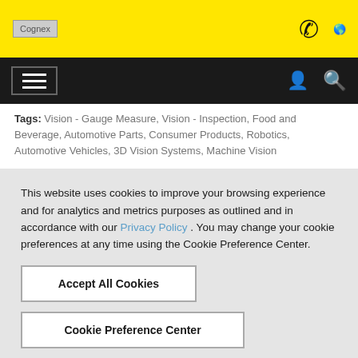[Figure (logo): Cognex logo placeholder in yellow header bar with phone and globe icons]
[Figure (screenshot): Navigation bar with hamburger menu, user icon, and search icon on dark background]
Tags: Vision - Gauge Measure, Vision - Inspection, Food and Beverage, Automotive Parts, Consumer Products, Robotics, Automotive Vehicles, 3D Vision Systems, Machine Vision
This website uses cookies to improve your browsing experience and for analytics and metrics purposes as outlined and in accordance with our Privacy Policy . You may change your cookie preferences at any time using the Cookie Preference Center.
Accept All Cookies
Cookie Preference Center